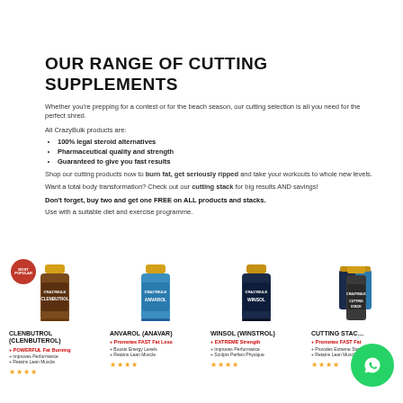OUR RANGE OF CUTTING SUPPLEMENTS
Whether you're prepping for a contest or for the beach season, our cutting selection is all you need for the perfect shred.
All CrazyBulk products are:
100% legal steroid alternatives
Pharmaceutical quality and strength
Guaranteed to give you fast results
Shop our cutting products now to burn fat, get seriously ripped and take your workouts to whole new levels.
Want a total body transformation? Check out our cutting stack for big results AND savings!
Don't forget, buy two and get one FREE on ALL products and stacks.
Use with a suitable diet and exercise programme.
[Figure (photo): Product bottle: CLENBUTROL (Clenbuterol) - brown bottle with gold cap, 'MOST POPULAR' red badge]
CLENBUTROL (CLENBUTEROL)
+ POWERFUL Fat Burning
+ Improves Performance
+ Retains Lean Muscle
[Figure (photo): Product bottle: ANVAROL (Anavar) - blue bottle with gold cap]
ANVAROL (ANAVAR)
+ Promotes FAST Fat Loss
+ Boosts Energy Levels
+ Retains Lean Muscle
[Figure (photo): Product bottle: WINSOL (Winstrol) - dark blue bottle with gold cap]
WINSOL (WINSTROL)
+ EXTREME Strength
+ Improves Performance
+ Sculpts Perfect Physique
[Figure (photo): Product stack image: CUTTING STACK - multiple bottles]
CUTTING STACK
+ Promotes FAST Fat
+ Provides Extreme Strength
+ Retains Lean Muscle